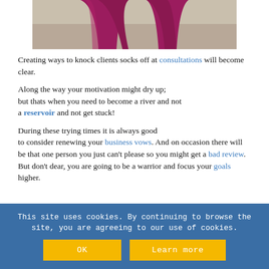[Figure (photo): Cropped photo showing lower body of person wearing magenta/pink leggings, viewed from above at an angle.]
Creating ways to knock clients socks off at consultations will become clear.
Along the way your motivation might dry up; but thats when you need to become a river and not a reservoir and not get stuck!
During these trying times it is always good to consider renewing your business vows. And on occasion there will be that one person you just can't please so you might get a bad review. But don't dear, you are going to be a warrior and focus your goals higher.
This site uses cookies. By continuing to browse the site, you are agreeing to our use of cookies.